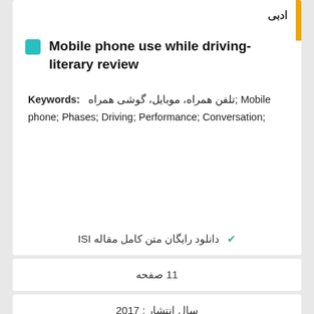ادبی
Mobile phone use while driving-literary review
Keywords: تلفن همراه، موبایل، گوشی همراه; Mobile phone; Phases; Driving; Performance; Conversation;
✓ دانلود رایگان متن کامل مقاله ISI
11 صفحه
سال انتشار : 2017
✓ سفارش ترجمه